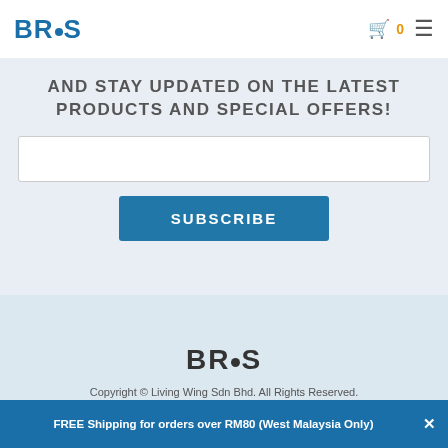[Figure (logo): BROS logo with blue text and circular dot above the O, top left of header]
AND STAY UPDATED ON THE LATEST PRODUCTS AND SPECIAL OFFERS!
[Figure (other): Text input field for email subscription]
SUBSCRIBE
[Figure (logo): BROS logo in dark/black text centered in footer area]
Copyright © Living Wing Sdn Bhd. All Rights Reserved.
FREE Shipping for orders over RM80 (West Malaysia Only)